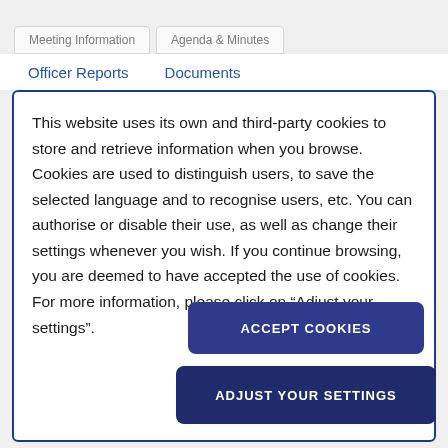Meeting Information   Agenda & Minutes
Officer Reports   Documents
This website uses its own and third-party cookies to store and retrieve information when you browse. Cookies are used to distinguish users, to save the selected language and to recognise users, etc. You can authorise or disable their use, as well as change their settings whenever you wish. If you continue browsing, you are deemed to have accepted the use of cookies. For more information, please click on “Adjust your settings”.
ACCEPT COOKIES
ADJUST YOUR SETTINGS